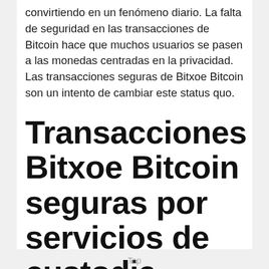convirtiendo en un fenómeno diario. La falta de seguridad en las transacciones de Bitcoin hace que muchos usuarios se pasen a las monedas centradas en la privacidad. Las transacciones seguras de Bitxoe Bitcoin son un intento de cambiar este status quo.
Transacciones Bitxoe Bitcoin seguras por servicios de custodia
Top